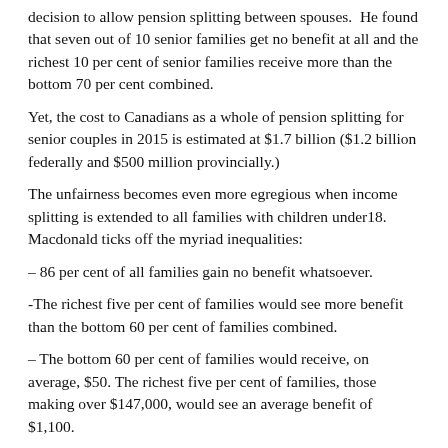decision to allow pension splitting between spouses. He found that seven out of 10 senior families get no benefit at all and the richest 10 per cent of senior families receive more than the bottom 70 per cent combined.
Yet, the cost to Canadians as a whole of pension splitting for senior couples in 2015 is estimated at $1.7 billion ($1.2 billion federally and $500 million provincially.)
The unfairness becomes even more egregious when income splitting is extended to all families with children under18. Macdonald ticks off the myriad inequalities:
– 86 per cent of all families gain no benefit whatsoever.
-The richest five per cent of families would see more benefit than the bottom 60 per cent of families combined.
– The bottom 60 per cent of families would receive, on average, $50. The richest five per cent of families, those making over $147,000, would see an average benefit of $1,100.
– This loophole by itself would cost the federal government $3 billion in lost revenue  and the provinces, an additional $1.9 billion, for a total loss of $4.9 billion in 2015 alone.